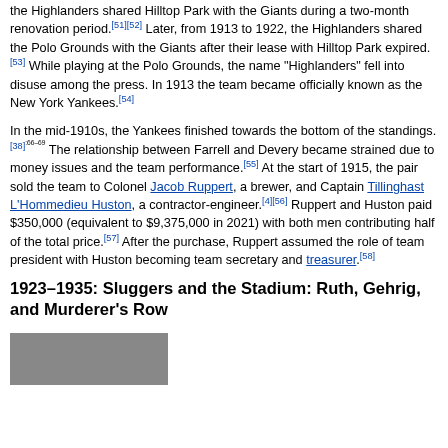the Highlanders shared Hilltop Park with the Giants during a two-month renovation period.[51][52] Later, from 1913 to 1922, the Highlanders shared the Polo Grounds with the Giants after their lease with Hilltop Park expired.[53] While playing at the Polo Grounds, the name "Highlanders" fell into disuse among the press. In 1913 the team became officially known as the New York Yankees.[54]
In the mid-1910s, the Yankees finished towards the bottom of the standings.[38]:66–69 The relationship between Farrell and Devery became strained due to money issues and the team performance.[55] At the start of 1915, the pair sold the team to Colonel Jacob Ruppert, a brewer, and Captain Tillinghast L'Hommedieu Huston, a contractor-engineer.[4][56] Ruppert and Huston paid $350,000 (equivalent to $9,375,000 in 2021) with both men contributing half of the total price.[57] After the purchase, Ruppert assumed the role of team president with Huston becoming team secretary and treasurer.[58]
1923–1935: Sluggers and the Stadium: Ruth, Gehrig, and Murderer's Row
[Figure (photo): Partial photograph visible at bottom of page, cropped]